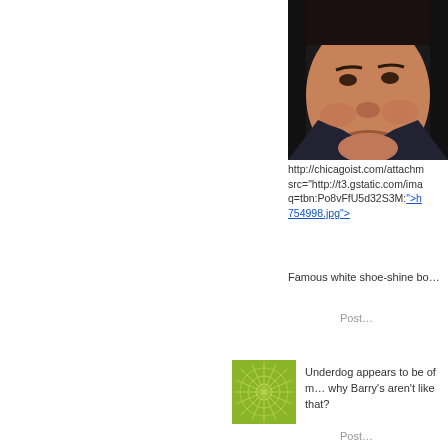[Figure (photo): Close-up photo of a man's face, appearing to be a politician or public figure, wearing a suit and tie, against a dark background.]
http://chicagoist.com/attachm... src="http://t3.gstatic.com/ima... q=tbn:Po8vFfU5d32S3M:">h... 754998.jpg">
Famous white shoe-shine bo...
Post...
[Figure (illustration): Green square avatar with a starburst/snowflake geometric pattern in lighter green lines on a green background.]
Underdog appears to be of m... why Barry's aren't like that?
[Figure (illustration): Green square avatar with a sun/radial burst pattern with a green circle center on a green background with radiating lines.]
Ignatz, let's just be thankful th... cap and vest.
Post...